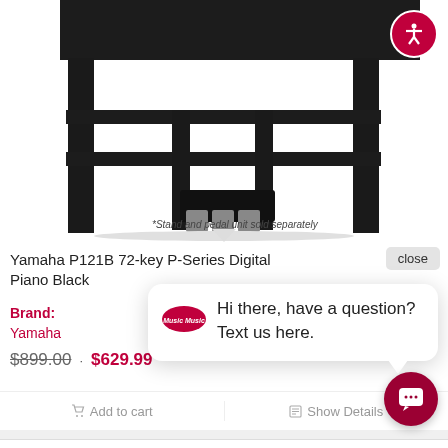[Figure (photo): Yamaha digital piano on stand with triple pedal unit, shown in black finish from a low front angle. Text below image reads '*Stand and pedal unit sold separately']
*Stand and pedal unit sold separately
close
Yamaha P121B 72-key P-Series Digital Piano Black
Brand: Yamaha
$899.00 · $629.99
Hi there, have a question? Text us here.
Add to cart
Show Details